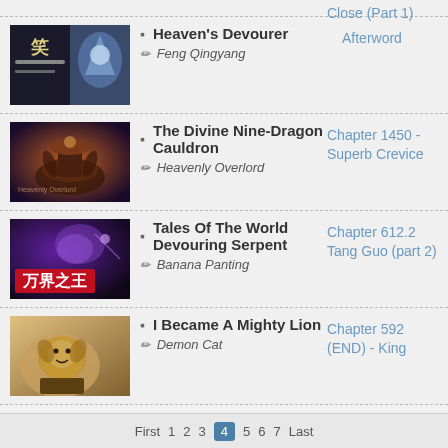Close (Part 1)
Heaven's Devourer | Feng Qingyang | Afterword
The Divine Nine-Dragon Cauldron | Heavenly Overlord | Chapter 1450 - Superb Crevice
Tales Of The World Devouring Serpent | Banana Panting | Chapter 612.2 Tang Guo (part 2)
I Became A Mighty Lion | Demon Cat | Chapter 592 (END) - King
First  1  2  3  4  5  6  7  Last